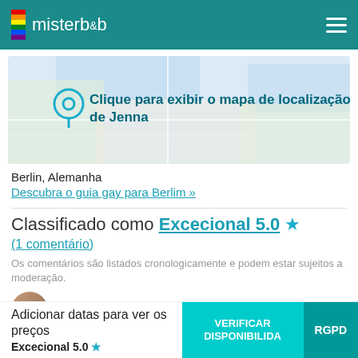misterb&b
[Figure (map): Blurred map background with location pin icon and text overlay: Clique para exibir o mapa de localização de Jenna]
Berlin, Alemanha
Descubra o guia gay para Berlim »
Classificado como Excecional 5.0 ★
(1 comentário)
Os comentários são listados cronologicamente e podem estar sujeitos a moderação.
Kosta
Adicionar datas para ver os preços  Excecional 5.0 ★  VERIFICAR DISPONIBILIDA  RGPD